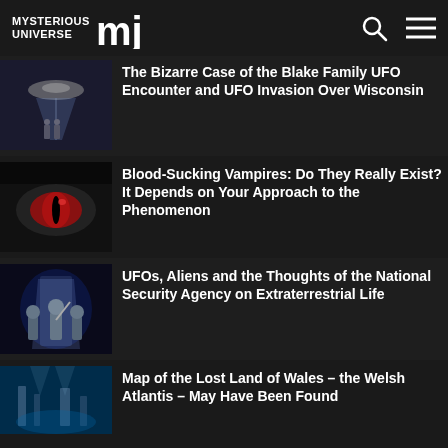MYSTERIOUS UNIVERSE
The Bizarre Case of the Blake Family UFO Encounter and UFO Invasion Over Wisconsin
Blood-Sucking Vampires: Do They Really Exist? It Depends on Your Approach to the Phenomenon
UFOs, Aliens and the Thoughts of the National Security Agency on Extraterrestrial Life
Map of the Lost Land of Wales – the Welsh Atlantis – May Have Been Found